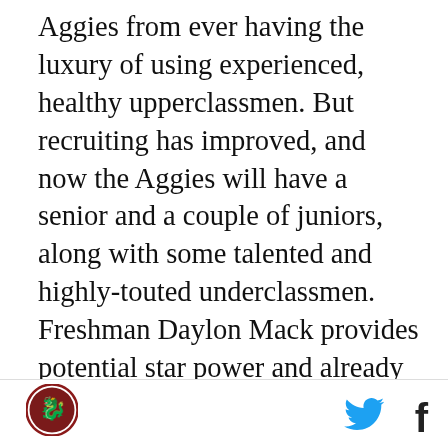Aggies from ever having the luxury of using experienced, healthy upperclassmen. But recruiting has improved, and now the Aggies will have a senior and a couple of juniors, along with some talented and highly-touted underclassmen. Freshman Daylon Mack provides potential star power and already looks like an upperclassman.
7. Safety. Sophomore Armani Watts returns after getting a lot of valuable playing time as a freshman, and incoming sophomore Justin Evans was the star of the spring on the defensive side of the ball. Still, if those two are starting, that's less than 10 combined starts between them, and there are no proven backups. It's a position that could surprise, but it's very
[Figure (logo): Circular logo with dark red/maroon border and animal figure inside]